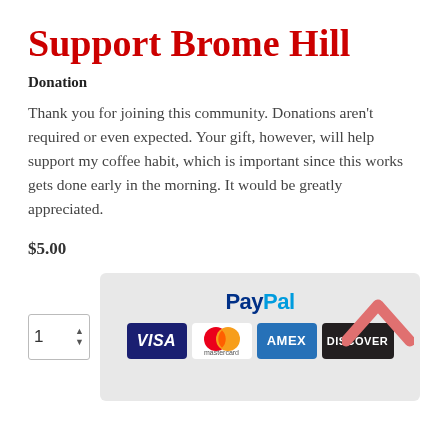Support Brome Hill
Donation
Thank you for joining this community. Donations aren't required or even expected. Your gift, however, will help support my coffee habit, which is important since this works gets done early in the morning. It would be greatly appreciated.
$5.00
[Figure (other): Payment section with quantity selector showing '1' and a PayPal button panel with credit card logos: VISA, Mastercard, AMEX, DISCOVER]